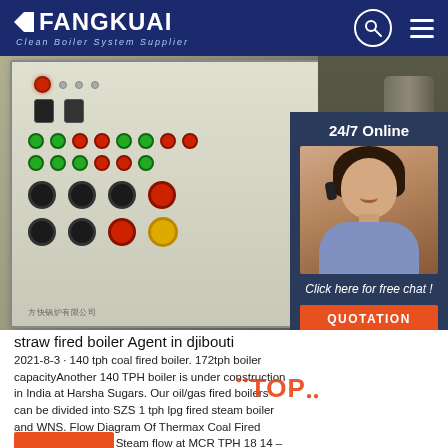FANGKUAI Clean Boiler System Supplier
[Figure (photo): Industrial boiler control panel with rows of green and red indicator lights and switches, with an online customer service sidebar showing a headset-wearing agent and 24/7 Online text]
straw fired boiler Agent in djibouti
2021-8-3 · 140 tph coal fired boiler. 172tph boiler capacityAnother 140 TPH boiler is under construction in India at Harsha Sugars. Our oil/gas fired boilers can be divided into SZS 1 tph lpg fired steam boiler and WNS. Flow Diagram Of Thermax Coal Fired Steam BoilerKefid · Steam flow at MCR TPH 18 14 –16.5 Steam pressure at MSSV °C 140 120 –140